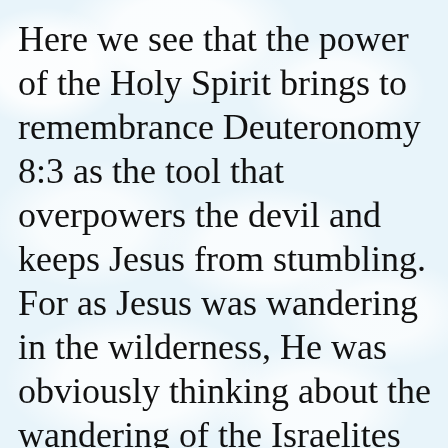Here we see that the power of the Holy Spirit brings to remembrance Deuteronomy 8:3 as the tool that overpowers the devil and keeps Jesus from stumbling.
For as Jesus was wandering in the wilderness, He was obviously thinking about the wandering of the Israelites in their wilderness,